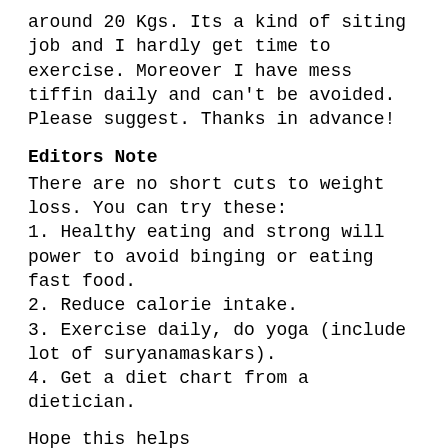around 20 Kgs. Its a kind of siting job and I hardly get time to exercise. Moreover I have mess tiffin daily and can't be avoided. Please suggest. Thanks in advance!
Editors Note
There are no short cuts to weight loss. You can try these:
1. Healthy eating and strong will power to avoid binging or eating fast food.
2. Reduce calorie intake.
3. Exercise daily, do yoga (include lot of suryanamaskars).
4. Get a diet chart from a dietician.
Hope this helps
Daljit